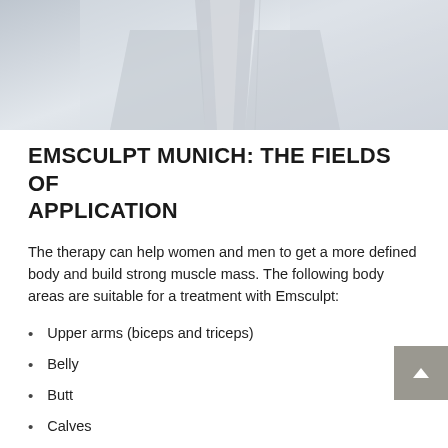[Figure (photo): Top portion of an Emsculpt medical device, showing a white/grey applicator unit with a sleek modern design against a light grey background.]
EMSCULPT MUNICH: THE FIELDS OF APPLICATION
The therapy can help women and men to get a more defined body and build strong muscle mass. The following body areas are suitable for a treatment with Emsculpt:
Upper arms (biceps and triceps)
Belly
Butt
Calves
As a rule, we recommend four sessions of 30 minutes each